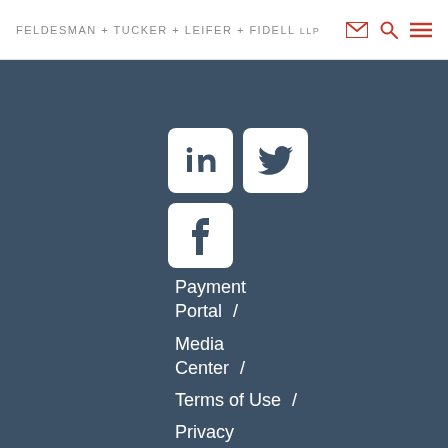FELDESMAN + TUCKER + LEIFER + FIDELL LLP
[Figure (logo): LinkedIn, Twitter, and Facebook social media icon buttons with white rounded-square backgrounds on dark blue-grey background]
Payment Portal /
Media Center /
Terms of Use /
Privacy Policy /
Attorney